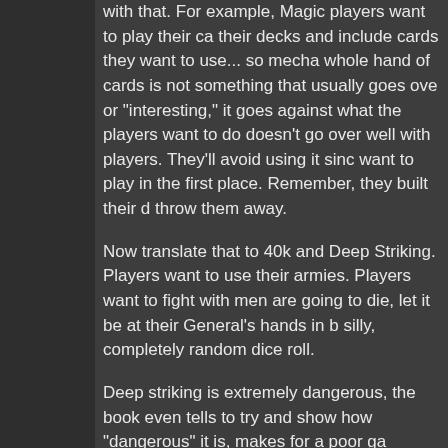with that. For example, Magic players want to play their ca their decks and include cards they want to use... so mecha whole hand of cards is not something that usually goes ove or "interesting," it goes against what the players want to do doesn't go over well with players. They'll avoid using it sinc want to play in the first place. Remember, they built their d throw them away.
Now translate that to 40k and Deep Striking. Players want to use their armies. Players want to fight with men are going to die, let it be at their General's hands in b silly, completely random dice roll.
Deep striking is extremely dangerous, the book even tells to try and show how "dangerous" it is, makes for a poor ga mathhammer, but let's look at how "dangerous" Deep Strik
You have to roll to see when they come in. Not dangerous, random.
You have to roll to see if they scatter. (66 percent says the Again, not dangerous, but random.